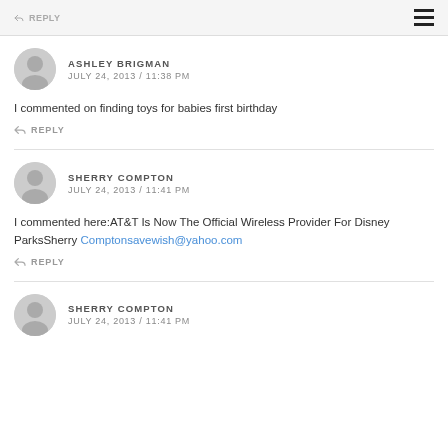REPLY
ASHLEY BRIGMAN
JULY 24, 2013 / 11:38 PM
I commented on finding toys for babies first birthday
REPLY
SHERRY COMPTON
JULY 24, 2013 / 11:41 PM
I commented here:AT&T Is Now The Official Wireless Provider For Disney ParksSherry Comptonsavewish@yahoo.com
REPLY
SHERRY COMPTON
JULY 24, 2013 / 11:41 PM